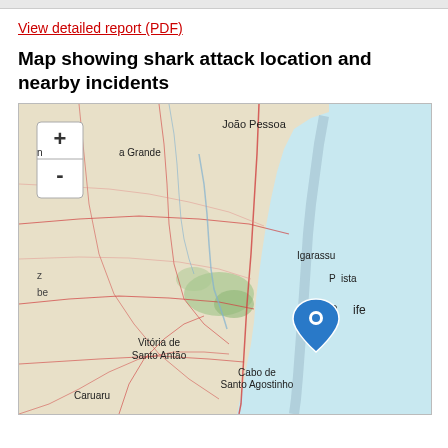View detailed report (PDF)
Map showing shark attack location and nearby incidents
[Figure (map): Interactive map showing the coast of northeastern Brazil near Recife, with a blue location pin marker placed on Recife. Visible cities include João Pessoa to the north, Igarassu, Paulista, Recife, Vitória de Santo Antão, Cabo de Santo Agostinho, and Caruaru. The map shows roads, waterways, and the Atlantic Ocean (light blue) to the east. Map zoom controls (+/-) are visible in the upper left.]